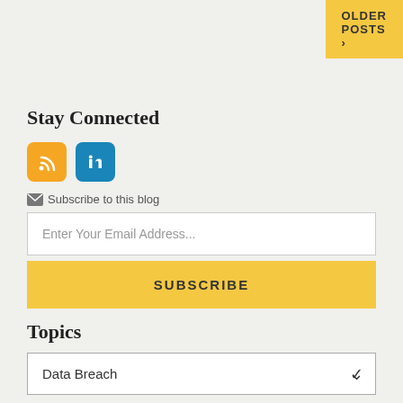[Figure (other): OLDER POSTS button with right arrow, yellow background, top-right corner]
Stay Connected
[Figure (other): RSS icon (orange rounded square) and LinkedIn icon (blue rounded square)]
Subscribe to this blog
Enter Your Email Address...
SUBSCRIBE
Topics
Data Breach